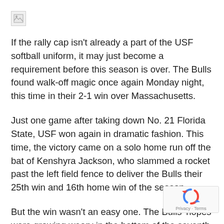[Figure (other): Broken image icon placeholder in top-left corner]
If the rally cap isn't already a part of the USF softball uniform, it may just become a requirement before this season is over. The Bulls found walk-off magic once again Monday night, this time in their 2-1 win over Massachusetts.
Just one game after taking down No. 21 Florida State, USF won again in dramatic fashion. This time, the victory came on a solo home run off the bat of Kenshyra Jackson, who slammed a rocket past the left field fence to deliver the Bulls their 25th win and 16th home win of the season.
But the win wasn't an easy one. The Bulls' hopes were growing weary in the bottom of the seventh
[Figure (other): reCAPTCHA badge with circular arrow logo and Privacy · Terms text]